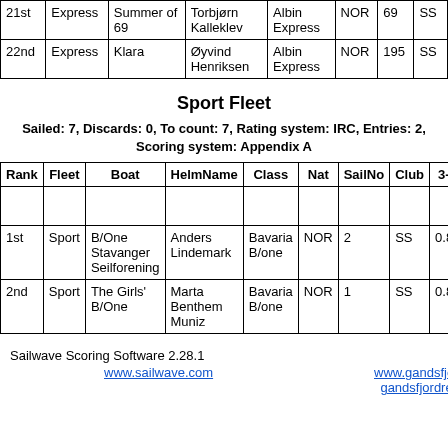| Rank | Fleet | Boat | HelmName | Class | Nat | SailNo | Club | 3-tal |
| --- | --- | --- | --- | --- | --- | --- | --- | --- |
| 21st | Express | Summer of 69 | Torbjørn Kalleklev | Albin Express | NOR | 69 | SS |  |
| 22nd | Express | Klara | Øyvind Henriksen | Albin Express | NOR | 195 | SS |  |
Sport Fleet
Sailed: 7, Discards: 0, To count: 7, Rating system: IRC, Entries: 2, Scoring system: Appendix A
| Rank | Fleet | Boat | HelmName | Class | Nat | SailNo | Club | 3-tal |
| --- | --- | --- | --- | --- | --- | --- | --- | --- |
| 1st | Sport | B/One Stavanger Seilforening | Anders Lindemark | Bavaria B/one | NOR | 2 | SS | 0.825 |
| 2nd | Sport | The Girls' B/One | Marta Benthem Muniz | Bavaria B/one | NOR | 1 | SS | 0.827 |
Sailwave Scoring Software 2.28.1
www.sailwave.com   www.gandsfjordseilforening.com gandsfjordregatta@gmail.com